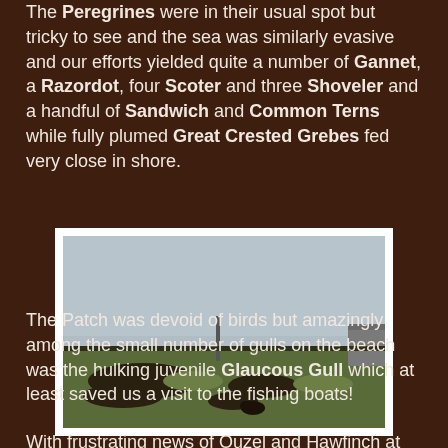The Peregrines were in their usual spot but tricky to see and the sea was similarly evasive and our efforts yielded quite a number of Gannet, a Razordot, four Scoter and three Shoveler and a handful of Sandwich and Common Terns while fully plumed Great Crested Grebes fed very close in shore.
[Figure (photo): A flat coastal landscape with short grass, dark muddy patches, a thin vertical structure (lighthouse or post) in the middle distance, and a building on the right. Sky is overcast and grey.]
The Patch was devoid of birds but amazingly among the small number of gulls on the beach was the hulking juvenile Glaucous Gull which at least saved us a visit to the fishing boats!
With frustrating news of Ouzel and Hawfinch at the other